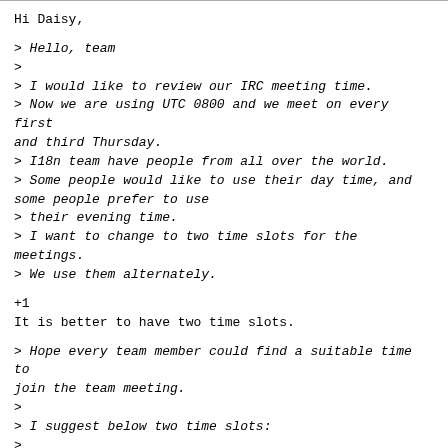Hi Daisy,
> Hello, team
>
> I would like to review our IRC meeting time.
> Now we are using UTC 0800 and we meet on every first and third Thursday.
> I18n team have people from all over the world.
> Some people would like to use their day time, and some people prefer to use
> their evening time.
> I want to change to two time slots for the meetings.
> We use them alternately.
+1
It is better to have two time slots.
> Hope every team member could find a suitable time to join the team meeting.
>
> I suggest below two time slots:
>
> 1. The first Thursday every month
> UTC 6am, Thur
> ...
> Tokyo 15pm, Thur
>
>
> 2. The third Thursday every month